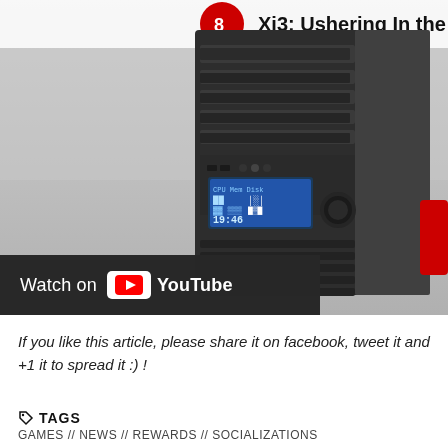[Figure (screenshot): YouTube video thumbnail showing a black desktop PC tower (Xi3 computer) with blue LCD display panel and red accent. Overlay bar at bottom reads 'Watch on YouTube'. Title text at top reads 'Xi3: Ushering In the post PC Er...']
If you like this article, please share it on facebook, tweet it and +1 it to spread it :) !
TAGS
GAMES // NEWS // REWARDS // SOCIALIZATIONS